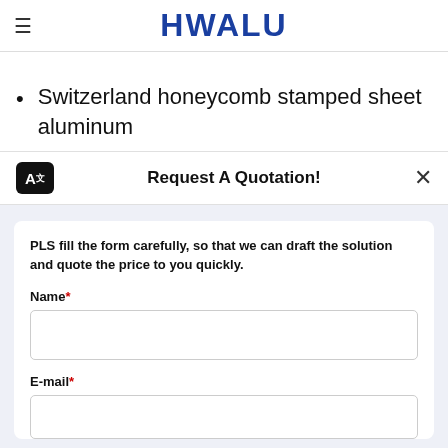HWALU
Switzerland honeycomb stamped sheet aluminum
Request A Quotation!
PLS fill the form carefully, so that we can draft the solution and quote the price to you quickly.
Name*
E-mail*